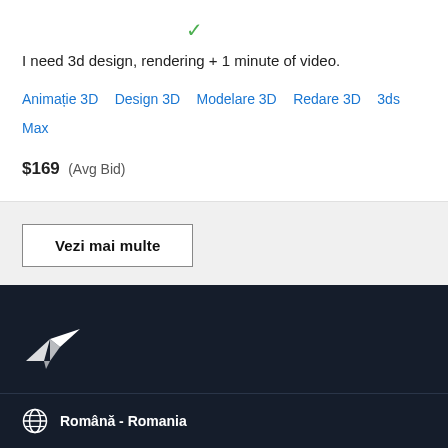I need 3d design, rendering + 1 minute of video.
Animație 3D   Design 3D   Modelare 3D   Redare 3D   3ds Max
$169  (Avg Bid)
Vezi mai multe
[Figure (logo): Freelancer bird logo in white on dark navy background]
Română - Romania